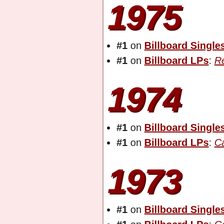1975
#1 on Billboard Singles: "Bad B..."
#1 on Billboard LPs: Red Octop...
1974
#1 on Billboard Singles: "Nothin..."
#1 on Billboard LPs: Can't Get E...
1973
#1 on Billboard Singles: "Angie"
#1 on Billboard LPs: Goats Head...
1972